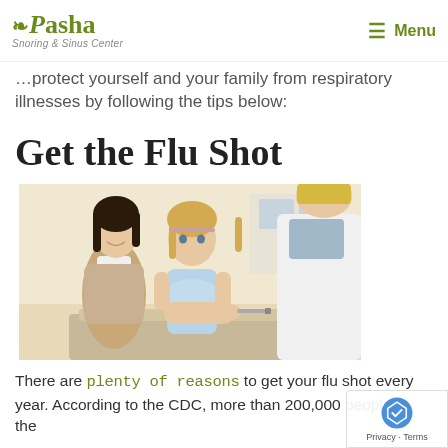Pasha Snoring & Sinus Center | Menu
...protect yourself and your family from respiratory illnesses by following the tips below:
Get the Flu Shot
[Figure (photo): A young girl sitting on an exam table receiving a vaccination shot in her arm from a healthcare professional in a white coat, while her mother sits beside her smiling.]
There are plenty of reasons to get your flu shot every year. According to the CDC, more than 200,000 people in the